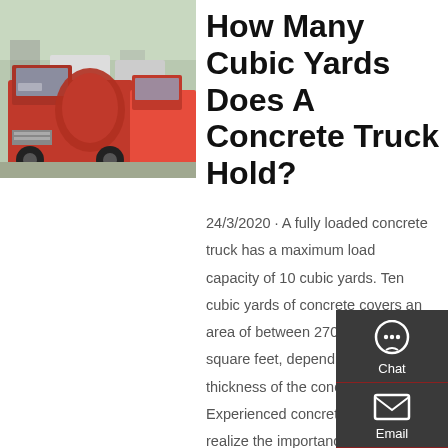[Figure (photo): Red concrete mixer trucks parked in a yard]
How Many Cubic Yards Does A Concrete Truck Hold?
24/3/2020 · A fully loaded concrete truck has a maximum load capacity of 10 cubic yards. Ten cubic yards of concrete covers an area of between 270 and 810 square feet, depending on the thickness of the concrete slab. Experienced concrete contractors realize the importance of ordering the correct amount of concrete needed to complete a job and